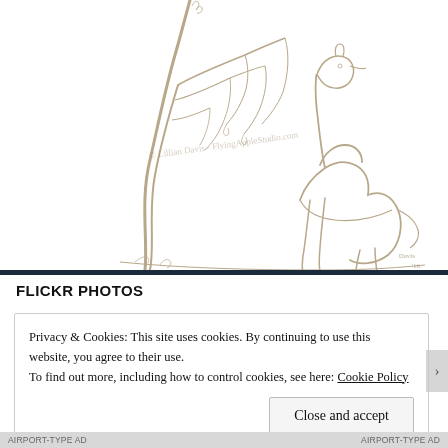[Figure (illustration): Pencil sketch of a camel standing next to a tree with drooping branches. Watermark reads '© Lillian Davis - FlyingAppleStudio.com'. Small artist signature in bottom right corner.]
FLICKR PHOTOS
Privacy & Cookies: This site uses cookies. By continuing to use this website, you agree to their use.
To find out more, including how to control cookies, see here: Cookie Policy
Close and accept